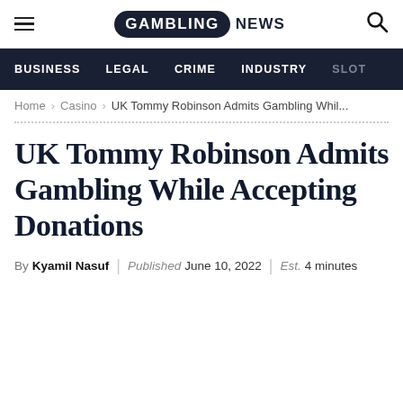GAMBLING NEWS
BUSINESS | LEGAL | CRIME | INDUSTRY | SLOT
Home › Casino › UK Tommy Robinson Admits Gambling Whil...
UK Tommy Robinson Admits Gambling While Accepting Donations
By Kyamil Nasuf | Published June 10, 2022 | Est. 4 minutes